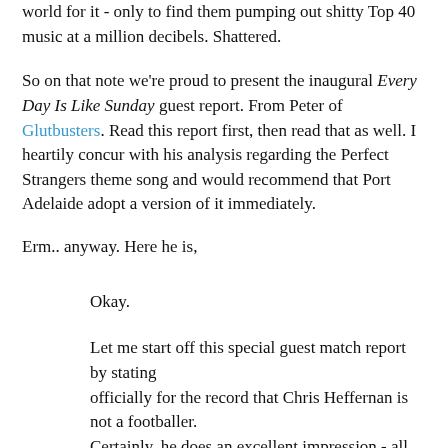world for it - only to find them pumping out shitty Top 40 music at a million decibels. Shattered.
So on that note we're proud to present the inaugural Every Day Is Like Sunday guest report. From Peter of Glutbusters. Read this report first, then read that as well. I heartily concur with his analysis regarding the Perfect Strangers theme song and would recommend that Port Adelaide adopt a version of it immediately.
Erm.. anyway. Here he is,
Okay.
Let me start off this special guest match report by stating officially for the record that Chris Heffernan is not a footballer. Certainly, he does an excellent impression - all neat uniform and silky skills. However, that key footballing attribute - the ability...